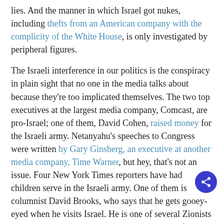lies. And the manner in which Israel got nukes, including thefts from an American company with the complicity of the White House, is only investigated by peripheral figures.
The Israeli interference in our politics is the conspiracy in plain sight that no one in the media talks about because they're too implicated themselves. The two top executives at the largest media company, Comcast, are pro-Israel; one of them, David Cohen, raised money for the Israeli army. Netanyahu's speeches to Congress were written by Gary Ginsberg, an executive at another media company, Time Warner, but hey, that's not an issue. Four New York Times reporters have had children serve in the Israeli army. One of them is columnist David Brooks, who says that he gets gooey-eyed when he visits Israel. He is one of several Zionists with columns at the Times. Tom Friedman justified the Iraq War because suicide bombers were going into Tel Aviv pizza parlors. (Huh?)
Yesterday Martin Indyk said on National Public Radio